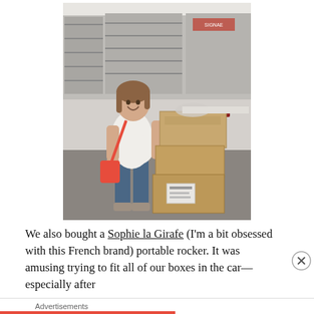[Figure (photo): A smiling pregnant woman in a white t-shirt, jeans, and red crossbody bag, standing next to stacked cardboard boxes on a hand truck inside a retail store with shelving visible in the background.]
We also bought a Sophie la Girafe (I'm a bit obsessed with this French brand) portable rocker. It was amusing trying to fit all of our boxes in the car—especially after
Advertisements